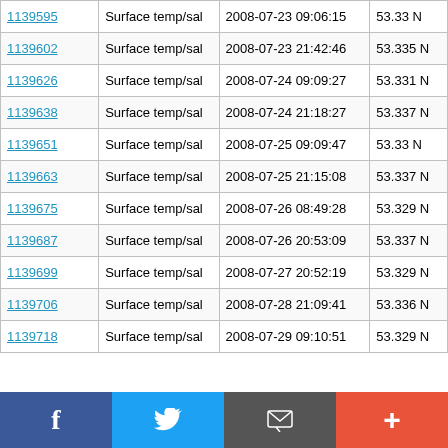| ID | Type | Datetime | Lat |
| --- | --- | --- | --- |
| 1139595 | Surface temp/sal | 2008-07-23 09:06:15 | 53.33 N |
| 1139602 | Surface temp/sal | 2008-07-23 21:42:46 | 53.335 N |
| 1139626 | Surface temp/sal | 2008-07-24 09:09:27 | 53.331 N |
| 1139638 | Surface temp/sal | 2008-07-24 21:18:27 | 53.337 N |
| 1139651 | Surface temp/sal | 2008-07-25 09:09:47 | 53.33 N |
| 1139663 | Surface temp/sal | 2008-07-25 21:15:08 | 53.337 N |
| 1139675 | Surface temp/sal | 2008-07-26 08:49:28 | 53.329 N |
| 1139687 | Surface temp/sal | 2008-07-26 20:53:09 | 53.337 N |
| 1139699 | Surface temp/sal | 2008-07-27 20:52:19 | 53.329 N |
| 1139706 | Surface temp/sal | 2008-07-28 21:09:41 | 53.336 N |
| 1139718 | Surface temp/sal | 2008-07-29 09:10:51 | 53.329 N |